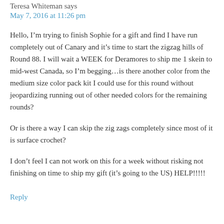Teresa Whiteman says
May 7, 2016 at 11:26 pm
Hello, I’m trying to finish Sophie for a gift and find I have run completely out of Canary and it’s time to start the zigzag hills of Round 88. I will wait a WEEK for Deramores to ship me 1 skein to mid-west Canada, so I’m begging…is there another color from the medium size color pack kit I could use for this round without jeopardizing running out of other needed colors for the remaining rounds?
Or is there a way I can skip the zig zags completely since most of it is surface crochet?
I don’t feel I can not work on this for a week without risking not finishing on time to ship my gift (it’s going to the US) HELP!!!!!
Reply